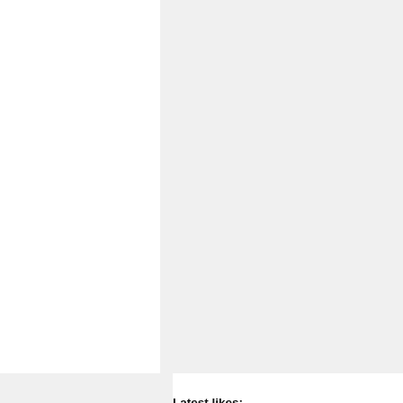Latest likes:
[Figure (logo): yuliay user avatar: a circular logo with red and blue swoosh shapes forming an R letter]
BennyF...   kokleo...   yuliay
Replies